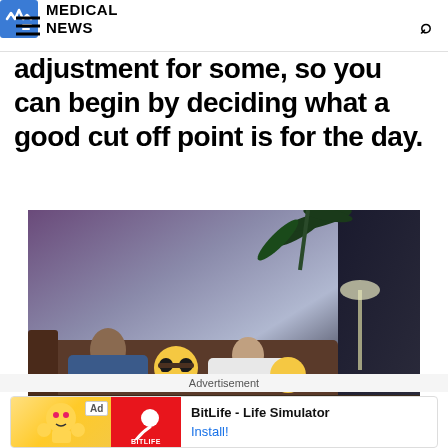MEDICAL NEWS
adjustment for some, so you can begin by deciding what a good cut off point is for the day.
[Figure (photo): Two people lying on a couch in a dimly lit room with a plant in the background and emoji pillows]
Advertisement
Ad BitLife - Life Simulator Install!